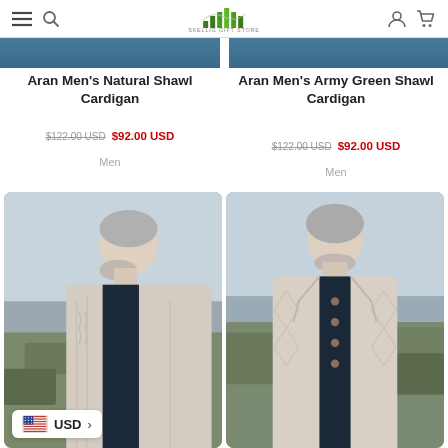Skellig Gift Store navigation header with hamburger menu, search, logo, user icon, cart icon
[Figure (photo): Partial product image strip at top showing two product photos cropped]
Aran Men's Natural Shawl Cardigan
$122.00 USD $92.00 USD
Men
Aran Men's Army Green Shawl Cardigan
$122.00 USD $92.00 USD
Men
[Figure (photo): Man with grey hair wearing a cream/natural Aran cardigan, side profile, rocky coastal background]
[Figure (photo): Man with grey hair wearing a cream Aran cardigan with diamond pattern and buttons, front-facing, rocky coastal background]
USD >